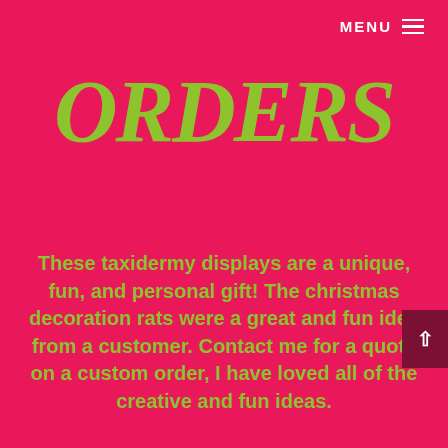MENU ≡
ORDERS
These taxidermy displays are a unique, fun, and personal gift! The christmas decoration rats were a great and fun idea from a customer. Contact me for a quote on a custom order, I have loved all of the creative and fun ideas.